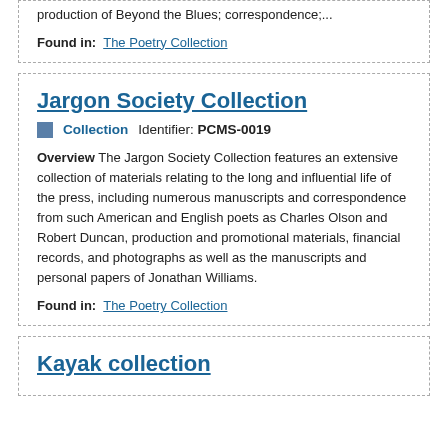production of Beyond the Blues; correspondence;...
Found in: The Poetry Collection
Jargon Society Collection
Collection   Identifier: PCMS-0019
Overview The Jargon Society Collection features an extensive collection of materials relating to the long and influential life of the press, including numerous manuscripts and correspondence from such American and English poets as Charles Olson and Robert Duncan, production and promotional materials, financial records, and photographs as well as the manuscripts and personal papers of Jonathan Williams.
Found in: The Poetry Collection
Kayak collection